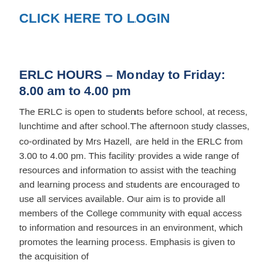CLICK HERE TO LOGIN
ERLC HOURS – Monday to Friday: 8.00 am to 4.00 pm
The ERLC is open to students before school, at recess, lunchtime and after school.The afternoon study classes, co-ordinated by Mrs Hazell, are held in the ERLC from 3.00 to 4.00 pm. This facility provides a wide range of resources and information to assist with the teaching and learning process and students are encouraged to use all services available. Our aim is to provide all members of the College community with equal access to information and resources in an environment, which promotes the learning process. Emphasis is given to the acquisition of